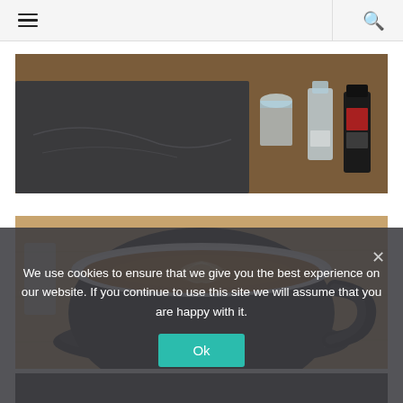≡  🔍
[Figure (photo): Top-down photo of a black slate board with glass bottles including water bottles and a dark bottle on a wooden table]
[Figure (photo): Close-up photo of a flat white or latte coffee with latte art in a black ceramic cup on a wooden surface]
[Figure (photo): Partially visible third photo at bottom of page]
We use cookies to ensure that we give you the best experience on our website. If you continue to use this site we will assume that you are happy with it.
Ok